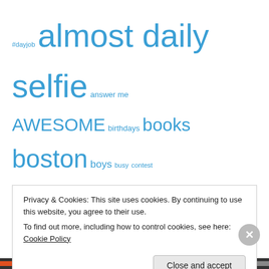[Figure (other): Tag cloud with words of varying sizes in blue: #dayjob, almost daily selfie, answer me, AWESOME, birthdays, books, boston, boys, busy, contest, dreams, drinks, driving, facts, family, first post, food, friends, funny, goals, gratitude, growing up, guest post, guster, help!, hooray, hope, ideas, insomnia, lessons, lessons learned, love, lovely, me, milestones, mind boggling, mother nature, music, no clues here, numbers, OMG, original writing, overwhelmed, random, reading, saucy, shocked, silly, sports]
Privacy & Cookies: This site uses cookies. By continuing to use this website, you agree to their use.
To find out more, including how to control cookies, see here: Cookie Policy
Close and accept